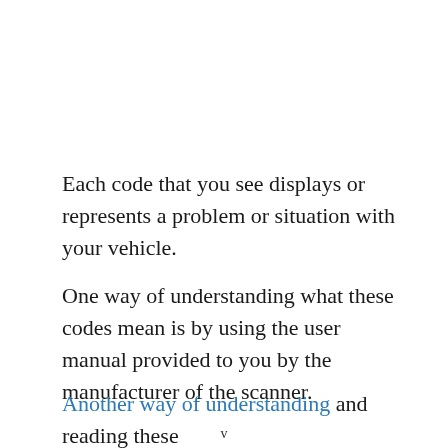Each code that you see displays or represents a problem or situation with your vehicle.
One way of understanding what these codes mean is by using the user manual provided to you by the manufacturer of the scanner.
Another way of understanding and reading these
v